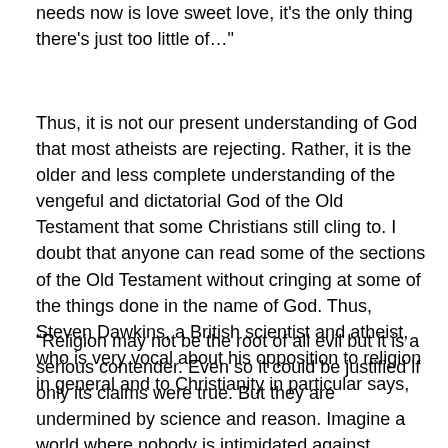needs now is love sweet love, it's the only thing there's just too little of…"
Thus, it is not our present understanding of God that most atheists are rejecting. Rather, it is the older and less complete understanding of the vengeful and dictatorial God of the Old Testament that some Christians still cling to. I doubt that anyone can read some of the sections of the Old Testament without cringing at some of the things done in the name of God. Thus, Steven Dawkins, a British scientist and atheist, who is very vocal about his opposition to religion in general and to Christianity in particular says,
“Religion may not be the root of all evil but it is a serious contender. Even so it could be justified if only its claims were true. But they are undermined by science and reason. Imagine a world where nobody is intimidated against following reason wherever it leads.”